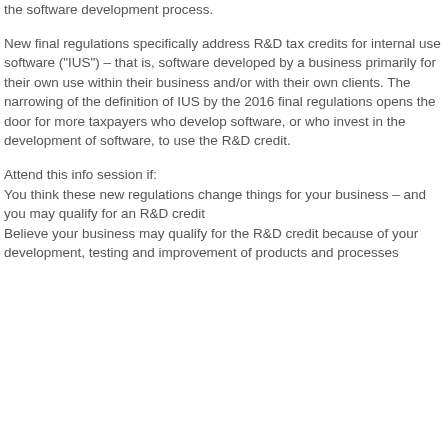the software development process.
New final regulations specifically address R&D tax credits for internal use software ("IUS") – that is, software developed by a business primarily for their own use within their business and/or with their own clients. The narrowing of the definition of IUS by the 2016 final regulations opens the door for more taxpayers who develop software, or who invest in the development of software, to use the R&D credit.
Attend this info session if:
You think these new regulations change things for your business – and you may qualify for an R&D credit
Believe your business may qualify for the R&D credit because of your development, testing and improvement of products and processes